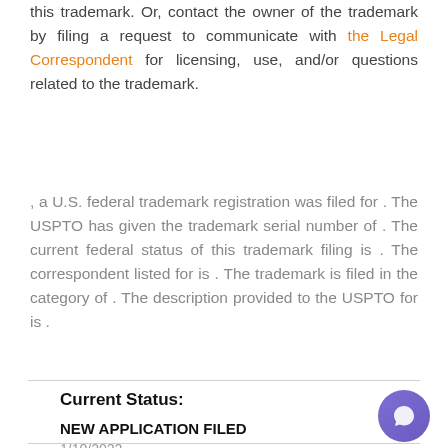this trademark. Or, contact the owner of the trademark by filing a request to communicate with the Legal Correspondent for licensing, use, and/or questions related to the trademark.
, a U.S. federal trademark registration was filed for . The USPTO has given the trademark serial number of . The current federal status of this trademark filing is . The correspondent listed for is . The trademark is filed in the category of . The description provided to the USPTO for is .
Current Status:
NEW APPLICATION FILED
1/10/2022